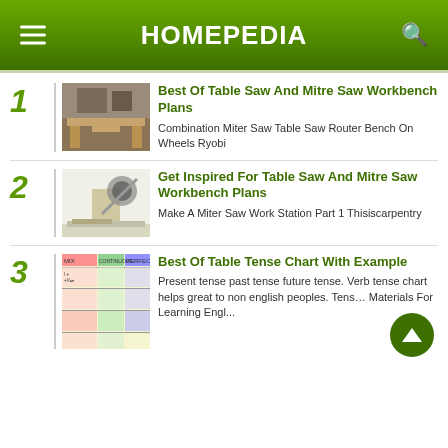HOMEPEDIA
1 Best Of Table Saw And Mitre Saw Workbench Plans — Combination Miter Saw Table Saw Router Bench On Wheels Ryobi
2 Get Inspired For Table Saw And Mitre Saw Workbench Plans — Make A Miter Saw Work Station Part 1 Thisiscarpentry
3 Best Of Table Tense Chart With Example — Present tense past tense future tense. Verb tense chart helps great to non english peoples. Tens… Materials For Learning Engl...